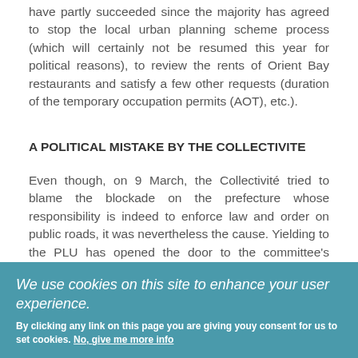have partly succeeded since the majority has agreed to stop the local urban planning scheme process (which will certainly not be resumed this year for political reasons), to review the rents of Orient Bay restaurants and satisfy a few other requests (duration of the temporary occupation permits (AOT), etc.).
A POLITICAL MISTAKE BY THE COLLECTIVITE
Even though, on 9 March, the Collectivité tried to blame the blockade on the prefecture whose responsibility is indeed to enforce law and order on public roads, it was nevertheless the cause. Yielding to the PLU has opened the door to the committee's demands. A political mistake by
We use cookies on this site to enhance your user experience.
By clicking any link on this page you are giving youy consent for us to set cookies. No, give me more info